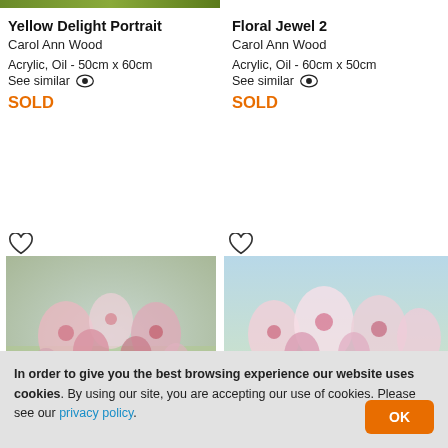[Figure (photo): Partial top crop of a landscape/floral painting — left column]
Yellow Delight Portrait
Carol Ann Wood
Acrylic, Oil - 50cm x 60cm
See similar 👁
SOLD
Floral Jewel 2
Carol Ann Wood
Acrylic, Oil - 60cm x 50cm
See similar 👁
SOLD
[Figure (photo): Painting of pink poppies/wildflowers with dreamy, soft focus style — left column second row]
[Figure (photo): Painting of pink and white wildflowers on light blue/green background — right column second row]
In order to give you the best browsing experience our website uses cookies. By using our site, you are accepting our use of cookies. Please see our privacy policy.